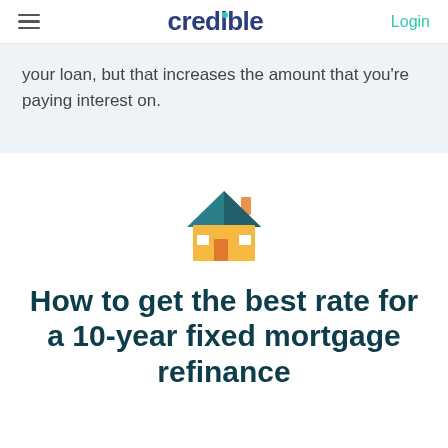credible | Login
your loan, but that increases the amount that you're paying interest on.
[Figure (illustration): House icon with teal roof and orange/yellow walls]
How to get the best rate for a 10-year fixed mortgage refinance